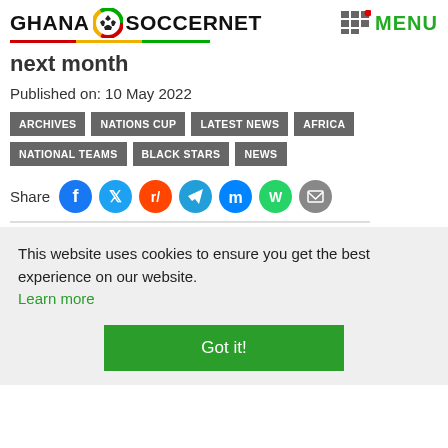GHANA SOCCERNET MENU
next month
Published on: 10 May 2022
ARCHIVES
NATIONS CUP
LATEST NEWS
AFRICA
NATIONAL TEAMS
BLACK STARS
NEWS
Share
This website uses cookies to ensure you get the best experience on our website. Learn more
Got it!